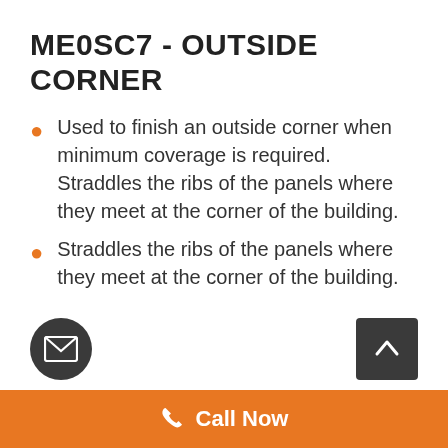ME0SC7 - OUTSIDE CORNER
Used to finish an outside corner when minimum coverage is required. Straddles the ribs of the panels where they meet at the corner of the building.
Straddles the ribs of the panels where they meet at the corner of the building.
Call Now